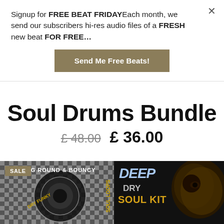Signup for FREE BEAT FRIDAYEach month, we send our subscribers hi-res audio files of a FRESH new beat FOR FREE…
Send Me Free Beats!
Soul Drums Bundle
£ 48.00  £ 36.00
[Figure (photo): Product image showing two drum kit sample pack covers: 'Big Round & Bouncy - Dry Funky Soul Loops' on the left with a spiral/hypnotic pattern, and 'Deep Dry Soul Kit' on the right with a dark background and drum imagery. A gold 'SALE' badge is visible in the top-left corner.]